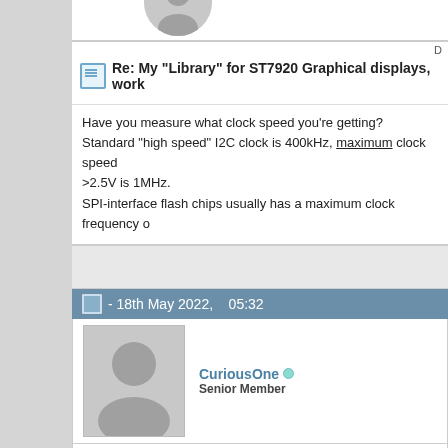[Figure (photo): User avatar placeholder (top, partially visible)]
Re: My "Library" for ST7920 Graphical displays, work...
Have you measure what clock speed you're getting?
Standard "high speed" I2C clock is 400kHz, maximum clock speed... >2.5V is 1MHz.
SPI-interface flash chips usually has a maximum clock frequency o...
- 18th May 2022,    05:32
[Figure (photo): CuriousOne user avatar placeholder]
CuriousOne
Senior Member
Re: My "Library" for ST7920 Graphical displays, work...
Not yet, but will do. Measure what, I2C clock frequency?
Tried modifying code in a way that only that part of screen is rede...